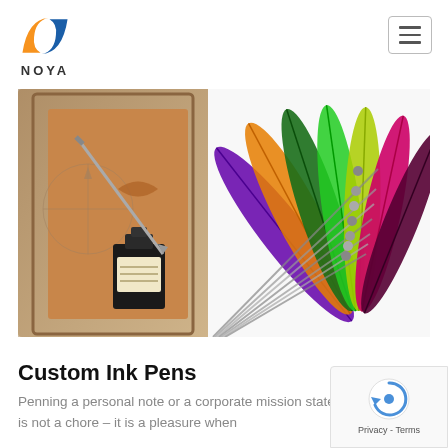[Figure (logo): NOYA company logo with orange and blue swoosh N symbol above the text NOYA in bold caps]
[Figure (photo): Photo of colorful feather quill pens with metallic tips fanned out on a white background, alongside a gift box containing an ink bottle and dip pen set with a world map background]
Custom Ink Pens
Penning a personal note or a corporate mission statement is not a chore – it is a pleasure when